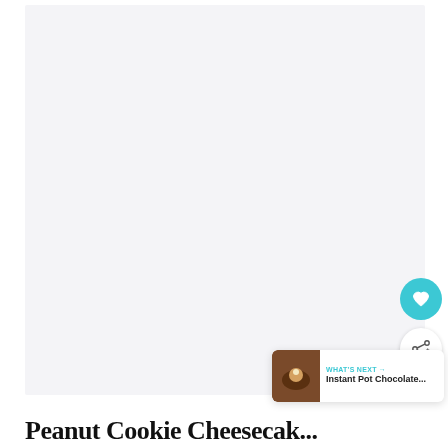[Figure (photo): Large light gray/white rectangular image area, likely a food photograph placeholder for a recipe page]
[Figure (infographic): Circular teal heart/favorite button icon on right side]
[Figure (infographic): Circular white share button icon on right side]
[Figure (screenshot): What's Next widget showing thumbnail of Instant Pot Chocolate recipe with teal label and arrow]
Peanut Cookie Cheesecak...